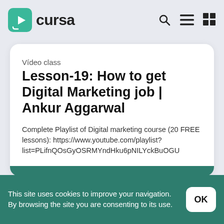cursa
Vídeο class
Lesson-19: How to get Digital Marketing job | Ankur Aggarwal
Complete Playlist of Digital marketing course (20 FREE lessons): https://www.youtube.com/playlist?list=PLifnQOsGyOSRMYndHku6pNILYckBuOGU
This site uses cookies to improve your navigation. By browsing the site you are consenting to its use.